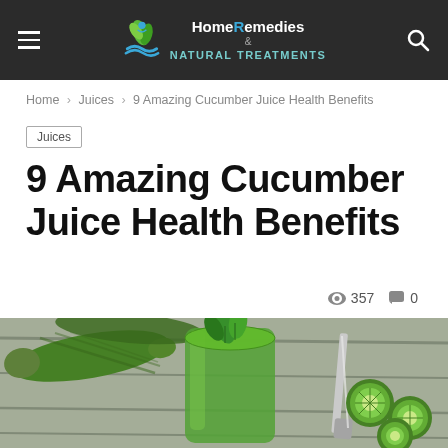Home Remedies & Natural Treatments
Home › Juices › 9 Amazing Cucumber Juice Health Benefits
Juices
9 Amazing Cucumber Juice Health Benefits
357 views · 0 comments
[Figure (photo): A glass of green cucumber juice with mint leaves on top, whole cucumbers and cucumber slices arranged on a wooden surface with a knife in the background]